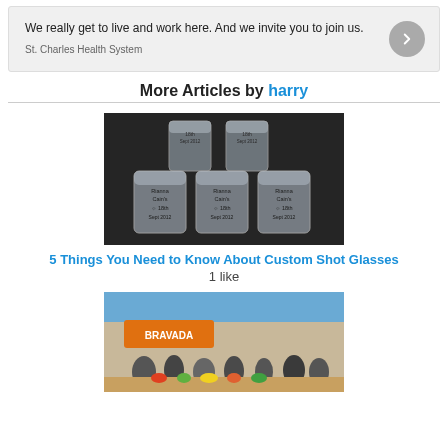[Figure (other): Advertisement banner: 'We really get to live and work here. And we invite you to join us.' St. Charles Health System, with a grey arrow button]
More Articles by harry
[Figure (photo): Photo of five custom shot glasses with text 'Rianna Cains 18th Sept 2012' engraved on them, arranged in a pyramid on a dark background]
5 Things You Need to Know About Custom Shot Glasses
1 like
[Figure (photo): Photo of an outdoor market or fair with a colorful sign, crowd of people, and produce displayed under a blue sky]